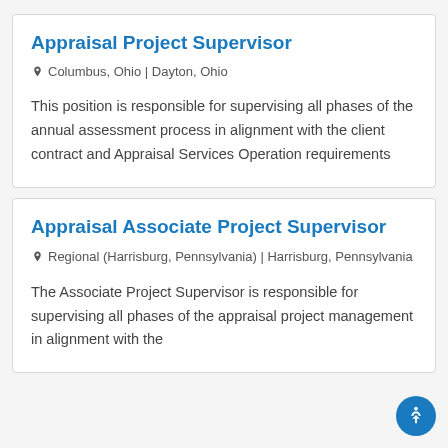Appraisal Project Supervisor
Columbus, Ohio | Dayton, Ohio
This position is responsible for supervising all phases of the annual assessment process in alignment with the client contract and Appraisal Services Operation requirements
Appraisal Associate Project Supervisor
Regional (Harrisburg, Pennsylvania) | Harrisburg, Pennsylvania
The Associate Project Supervisor is responsible for supervising all phases of the appraisal project management in alignment with the